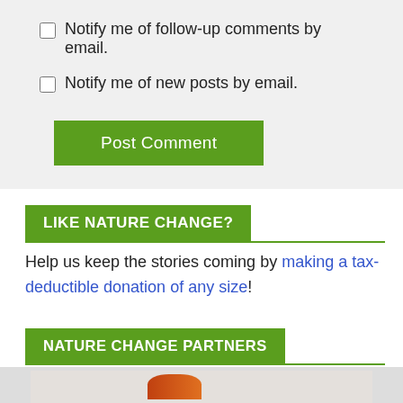Notify me of follow-up comments by email.
Notify me of new posts by email.
Post Comment
LIKE NATURE CHANGE?
Help us keep the stories coming by making a tax-deductible donation of any size!
NATURE CHANGE PARTNERS
[Figure (photo): Partial image of a nature/wildlife photo at the bottom of the page]